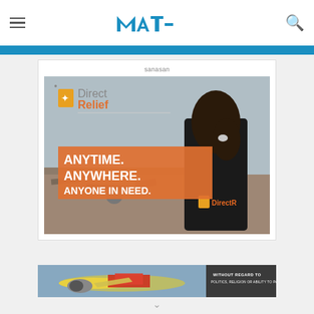MAT (logo) navigation header with hamburger menu and search icon
sanasan
[Figure (photo): Direct Relief advertisement showing a woman from behind wearing a black Direct Relief shirt, standing in a disaster rubble scene. Orange banner text reads ANYTIME. ANYWHERE. ANYONE IN NEED. Direct Relief logo visible top-left and bottom-right.]
[Figure (photo): Bottom banner ad showing an airplane being loaded with cargo. Text on right side reads WITHOUT REGARD TO POLITICS, RELIGION, OR ABILITY TO PAY.]